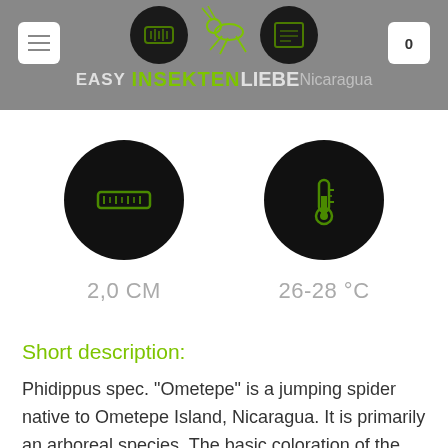EASY INSEKTENLIEBE Nicaragua
[Figure (infographic): Two circular black icons: a ruler icon labeled 2,0 CM and a thermometer icon labeled 26-28 °C]
Short description:
Phidippus spec. “Ometepe” is a jumping spider native to Ometepe Island, Nicaragua. It is primarily an arboreal species. The basic coloration of the females is a shimmering metallic green.On the abdomen it has an orange and black striped pattern. The males of this species have an